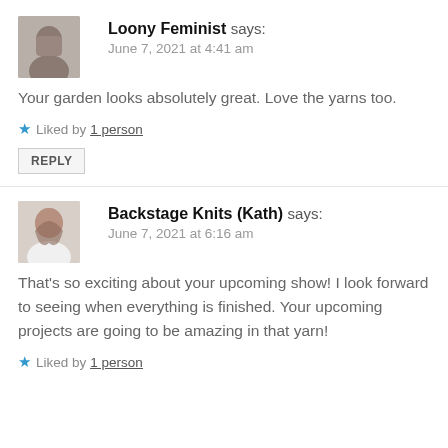Loony Feminist says:
June 7, 2021 at 4:41 am
Your garden looks absolutely great. Love the yarns too.
Liked by 1 person
REPLY
Backstage Knits (Kath) says:
June 7, 2021 at 6:16 am
That's so exciting about your upcoming show! I look forward to seeing when everything is finished. Your upcoming projects are going to be amazing in that yarn!
Liked by 1 person